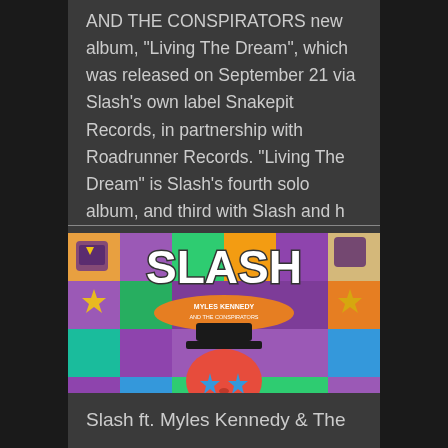AND THE CONSPIRATORS new album, "Living The Dream", which was released on September 21 via Slash's own label Snakepit Records, in partnership with Roadrunner Records. "Living The Dream" is Slash's fourth solo album, and third with Slash and h
[Figure (illustration): Album cover art for Slash ft. Myles Kennedy and the Conspirators 'Living The Dream / Driving Rain'. Features large bold white text 'SLASH' at top, colorful tile mosaic background with purple, green, orange, blue tiles containing slot machine and star graphics, a central skull with top hat and blue star eyes, three smiley face emojis on the hat, and text 'MYLES KENNEDY AND THE CONSPIRATORS' on a badge, with 'LIVING THE DREAM / DRIVING RAIN' at the bottom in yellow block letters.]
Slash ft. Myles Kennedy & The